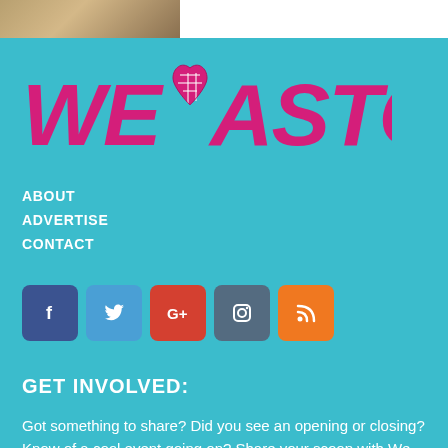[Figure (photo): Partial photo visible at top left corner of page]
[Figure (logo): We Heart Astoria logo with pink/magenta text and heart icon containing a map]
ABOUT
ADVERTISE
CONTACT
[Figure (infographic): Social media icon buttons: Facebook, Twitter, Google+, Instagram, RSS]
GET INVOLVED:
Got something to share? Did you see an opening or closing? Know of a cool event going on? Share your scoop with We Heart Astoria!